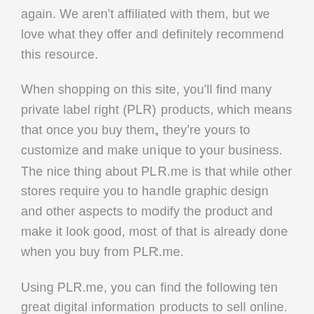again. We aren't affiliated with them, but we love what they offer and definitely recommend this resource.
When shopping on this site, you'll find many private label right (PLR) products, which means that once you buy them, they're yours to customize and make unique to your business. The nice thing about PLR.me is that while other stores require you to handle graphic design and other aspects to modify the product and make it look good, most of that is already done when you buy from PLR.me.
Using PLR.me, you can find the following ten great digital information products to sell online. They've available on the platform for you to